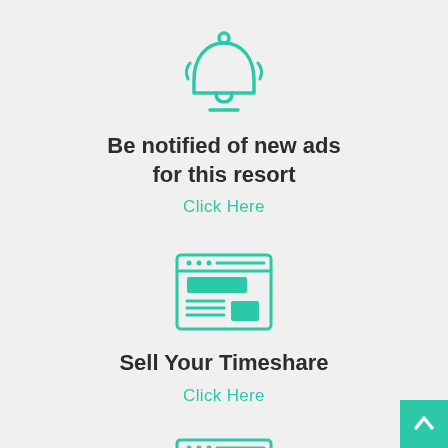[Figure (illustration): Teal outline bell icon with notification lines]
Be notified of new ads for this resort
Click Here
[Figure (illustration): Teal browser/webpage icon with content blocks]
Sell Your Timeshare
Click Here
[Figure (illustration): Teal browser/webpage icon (partial, bottom of page)]
[Figure (illustration): Back to top arrow button (teal square, bottom right)]